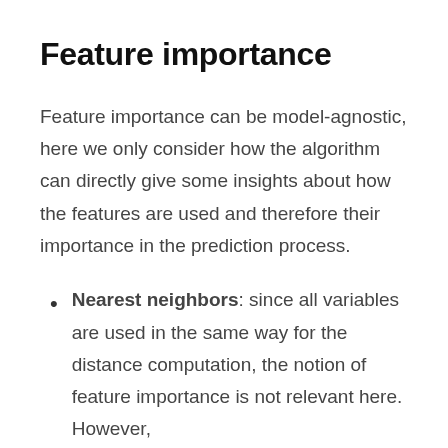Feature importance
Feature importance can be model-agnostic, here we only consider how the algorithm can directly give some insights about how the features are used and therefore their importance in the prediction process.
Nearest neighbors: since all variables are used in the same way for the distance computation, the notion of feature importance is not relevant here. However,